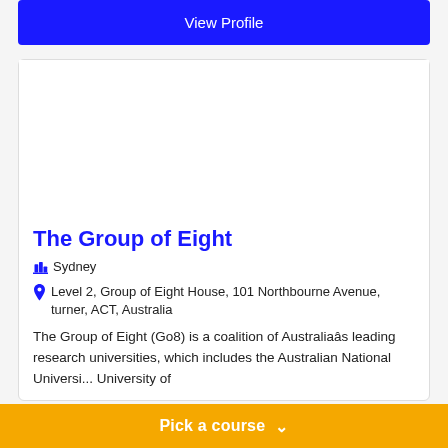[Figure (screenshot): Blue 'View Profile' button at top of page]
The Group of Eight
Sydney
Level 2, Group of Eight House, 101 Northbourne Avenue, turner, ACT, Australia
The Group of Eight (Go8) is a coalition of Australiaâs leading research universities, which includes the Australian National University of
[Figure (screenshot): Yellow 'Pick a course' button overlay at the bottom]